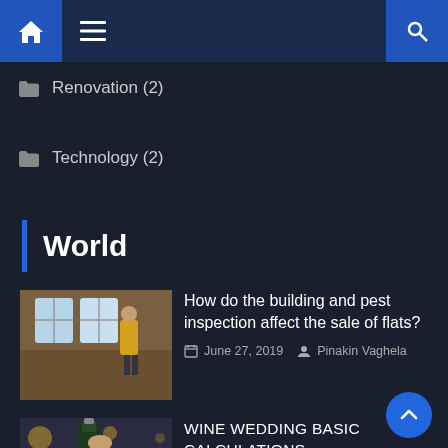Navigation bar with home, menu, and search icons
Renovation (2)
Technology (2)
World
[Figure (photo): Person in yellow vest inspecting a skylight window in an attic/roof space]
How do the building and pest inspection affect the sale of flats?
June 27, 2019  Pinakin Vaghela
[Figure (photo): Champagne being poured into flute glasses with bokeh lights in background]
WINE WEDDING BASIC CALCULATIONS
October 3, 2020  Joan Padilla